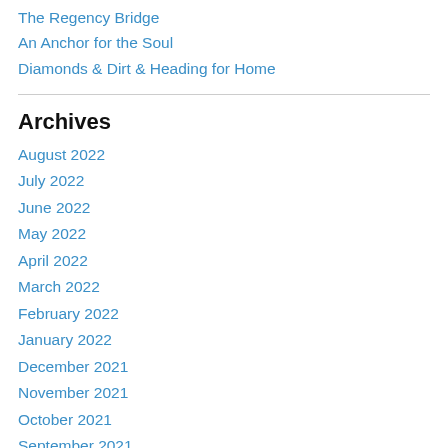The Regency Bridge
An Anchor for the Soul
Diamonds & Dirt & Heading for Home
Archives
August 2022
July 2022
June 2022
May 2022
April 2022
March 2022
February 2022
January 2022
December 2021
November 2021
October 2021
September 2021
August 2021